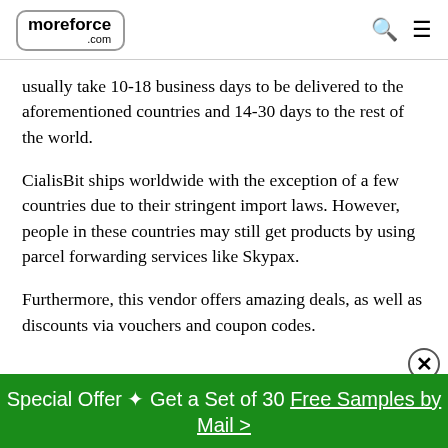moreforce .com
usually take 10-18 business days to be delivered to the aforementioned countries and 14-30 days to the rest of the world.
CialisBit ships worldwide with the exception of a few countries due to their stringent import laws. However, people in these countries may still get products by using parcel forwarding services like Skypax.
Furthermore, this vendor offers amazing deals, as well as discounts via vouchers and coupon codes.
Special Offer ❧ Get a Set of 30 Free Samples by Mail >